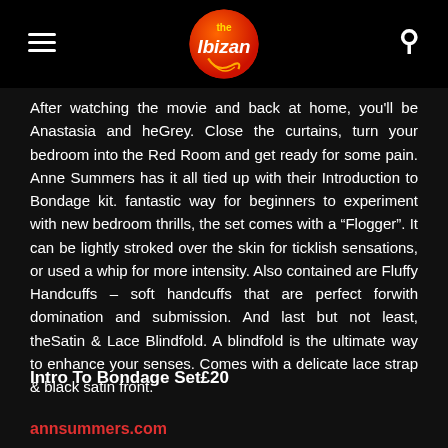The Ibizan
After watching the movie and back at home, you'll be Anastasia and heGrey. Close the curtains, turn your bedroom into the Red Room and get ready for some pain. Anne Summers has it all tied up with their Introduction to Bondage kit. fantastic way for beginners to experiment with new bedroom thrills, the set comes with a “Flogger”. It can be lightly stroked over the skin for ticklish sensations, or used a whip for more intensity. Also contained are Fluffy Handcuffs – soft handcuffs that are perfect forwith domination and submission. And last but not least, theSatin & Lace Blindfold. A blindfold is the ultimate way to enhance your senses. Comes with a delicate lace strap & black satin front.
Intro To Bondage Set£20
annsummers.com